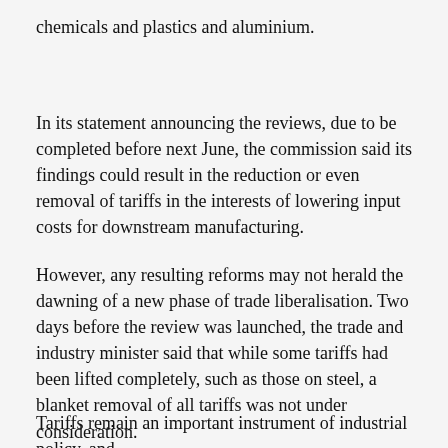chemicals and plastics and aluminium.
In its statement announcing the reviews, due to be completed before next June, the commission said its findings could result in the reduction or even removal of tariffs in the interests of lowering input costs for downstream manufacturing.
However, any resulting reforms may not herald the dawning of a new phase of trade liberalisation. Two days before the review was launched, the trade and industry minister said that while some tariffs had been lifted completely, such as those on steel, a blanket removal of all tariffs was not under consideration.
Tariffs remain an important instrument of industrial policy, and